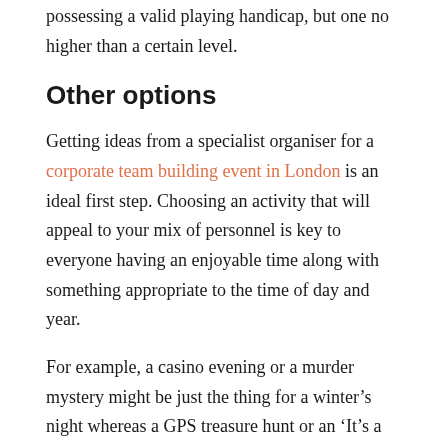possessing a valid playing handicap, but one no higher than a certain level.
Other options
Getting ideas from a specialist organiser for a corporate team building event in London is an ideal first step. Choosing an activity that will appeal to your mix of personnel is key to everyone having an enjoyable time along with something appropriate to the time of day and year.
For example, a casino evening or a murder mystery might be just the thing for a winter’s night whereas a GPS treasure hunt or an ‘It’s a Knockout’ could be a great idea for a summer’s day.
A time honoured quiz is always fun, but our art events